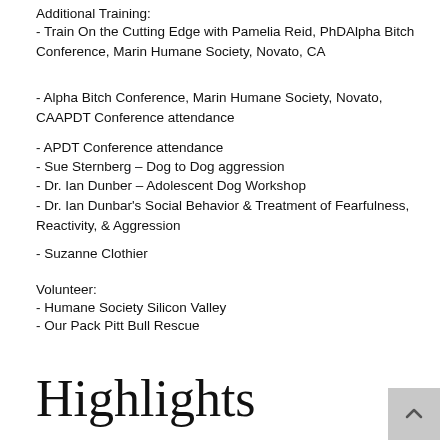Additional Training:
- Train On the Cutting Edge with Pamelia Reid, PhDAlpha Bitch Conference, Marin Humane Society, Novato, CA
- Alpha Bitch Conference, Marin Humane Society, Novato, CAAPDT Conference attendance
- APDT Conference attendance
- Sue Sternberg – Dog to Dog aggression
- Dr. Ian Dunber – Adolescent Dog Workshop
- Dr. Ian Dunbar's Social Behavior & Treatment of Fearfulness, Reactivity, & Aggression
- Suzanne Clothier
Volunteer:
- Humane Society Silicon Valley
- Our Pack Pitt Bull Rescue
Highlights